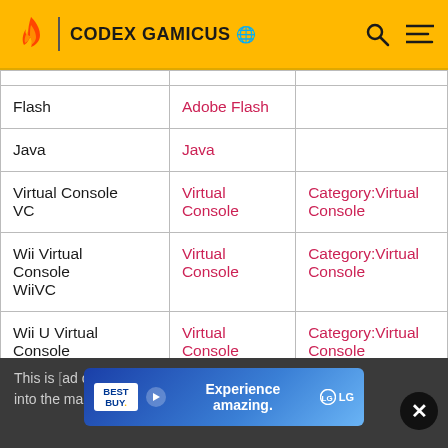CODEX GAMICUS
|  |  |  |
| --- | --- | --- |
| Flash | Adobe Flash |  |
| Java | Java |  |
| Virtual Console
VC | Virtual
Console | Category:Virtual
Console |
| Wii Virtual Console
WiiVC | Virtual
Console | Category:Virtual
Console |
| Wii U Virtual Console
WiiUVC | Virtual
Console | Category:Virtual
Console |
This is [ad overlay] included into the main template page. See template:Doc for more
[Figure (screenshot): Best Buy advertisement banner: 'Experience amazing.' with LG logo]